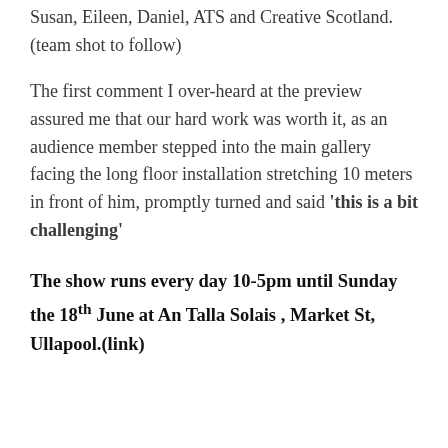Susan, Eileen, Daniel, ATS and Creative Scotland.  (team shot to follow)
The first comment I over-heard at the preview assured me that our hard work was worth it, as an audience member stepped into the main gallery facing the long floor installation stretching 10 meters in front of him, promptly turned and said 'this is a bit challenging'
The show runs every day 10-5pm until Sunday the 18th June at An Talla Solais , Market St, Ullapool.(link)